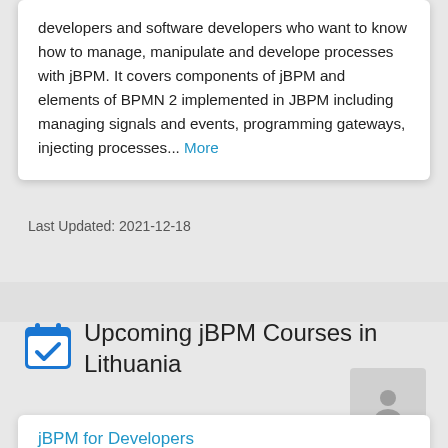developers and software developers who want to know how to manage, manipulate and develope processes with jBPM. It covers components of jBPM and elements of BPMN 2 implemented in JBPM including managing signals and events, programming gateways, injecting processes... More
Last Updated: 2021-12-18
Upcoming jBPM Courses in Lithuania
[Figure (illustration): Person/user silhouette icon placeholder image]
jBPM for Developers